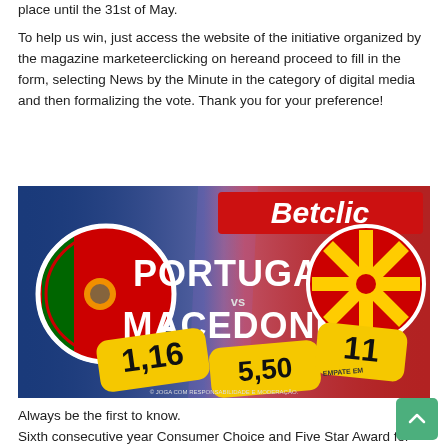place until the 31st of May.
To help us win, just access the website of the initiative organized by the magazine marketeerclicking on hereand proceed to fill in the form, selecting News by the Minute in the category of digital media and then formalizing the vote. Thank you for your preference!
[Figure (photo): Betclic betting advertisement showing Portugal vs Macedonia match with odds 1,16 / 5,50 / 11, featuring Portuguese and Macedonian flags on blue and red background]
Always be the first to know.
Sixth consecutive year Consumer Choice and Five Star Award for Online Press.
Download our free App.